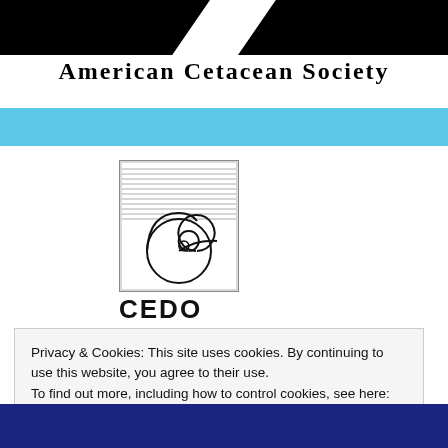[Figure (logo): American Cetacean Society header with two black triangular shapes at top and 'AMERICAN CETACEAN SOCIETY' text below]
[Figure (logo): CEDO logo: a square box with horizontal lines and a spiral shell drawing, with bold text 'CEDO' below]
Privacy & Cookies: This site uses cookies. By continuing to use this website, you agree to their use.
To find out more, including how to control cookies, see here: Cookie Policy
Close and accept